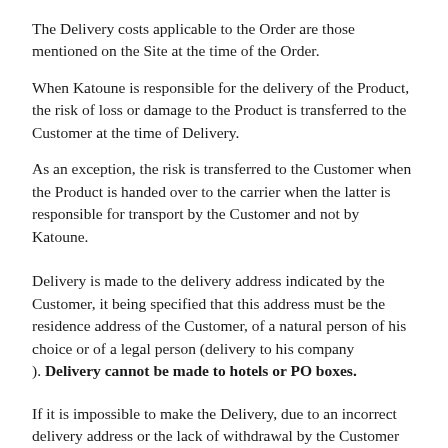The Delivery costs applicable to the Order are those mentioned on the Site at the time of the Order.
When Katoune is responsible for the delivery of the Product, the risk of loss or damage to the Product is transferred to the Customer at the time of Delivery.
As an exception, the risk is transferred to the Customer when the Product is handed over to the carrier when the latter is responsible for transport by the Customer and not by Katoune.
Delivery is made to the delivery address indicated by the Customer, it being specified that this address must be the residence address of the Customer, of a natural person of his choice or of a legal person (delivery to his company ). Delivery cannot be made to hotels or PO boxes.
If it is impossible to make the Delivery, due to an incorrect delivery address or the lack of withdrawal by the Customer